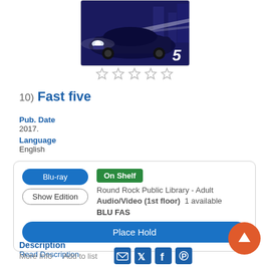[Figure (photo): Movie cover for Fast Five showing a dark blue/purple muscle car with headlights on, number 5 in white italic in bottom right corner]
[Figure (other): Five empty star rating icons]
10)  Fast five
Pub. Date
2017.
Language
English
Blu-ray
Show Edition
On Shelf
Round Rock Public Library - Adult Audio/Video (1st floor)  1 available
BLU FAS
Place Hold
Description
Read Description
More Info   Add to list